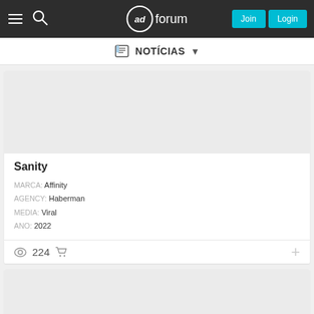adforum — Join | Login
NOTÍCIAS
[Figure (other): Gray placeholder image area for first card]
Sanity
MARCA: Affinity
AGENCY: Haberman
MEDIA: Viral
ANO: 2022
224
[Figure (other): Gray placeholder image area for second card]